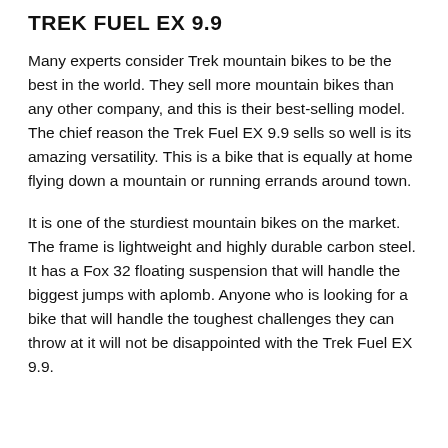TREK FUEL EX 9.9
Many experts consider Trek mountain bikes to be the best in the world. They sell more mountain bikes than any other company, and this is their best-selling model. The chief reason the Trek Fuel EX 9.9 sells so well is its amazing versatility. This is a bike that is equally at home flying down a mountain or running errands around town.
It is one of the sturdiest mountain bikes on the market. The frame is lightweight and highly durable carbon steel. It has a Fox 32 floating suspension that will handle the biggest jumps with aplomb. Anyone who is looking for a bike that will handle the toughest challenges they can throw at it will not be disappointed with the Trek Fuel EX 9.9.